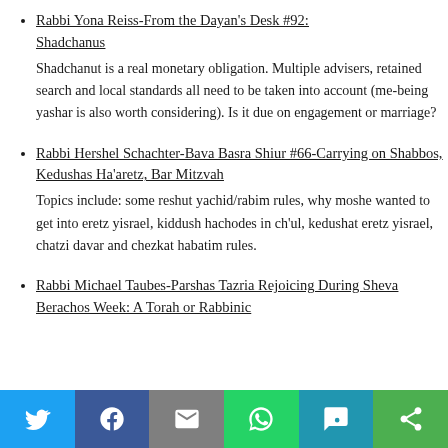Rabbi Yona Reiss-From the Dayan's Desk #92: Shadchanus
Shadchanut is a real monetary obligation. Multiple advisers, retained search and local standards all need to be taken into account (me-being yashar is also worth considering). Is it due on engagement or marriage?
Rabbi Hershel Schachter-Bava Basra Shiur #66-Carrying on Shabbos, Kedushas Ha'aretz, Bar Mitzvah
Topics include: some reshut yachid/rabim rules, why moshe wanted to get into eretz yisrael, kiddush hachodes in ch'ul, kedushat eretz yisrael, chatzi davar and chezkat habatim rules.
Rabbi Michael Taubes-Parshas Tazria Rejoicing During Sheva Berachos Week: A Torah or Rabbinic
[Figure (infographic): Social share bar with icons for Twitter (blue), Facebook (dark blue), Email (gray), WhatsApp (green), SMS (teal), and More (green)]